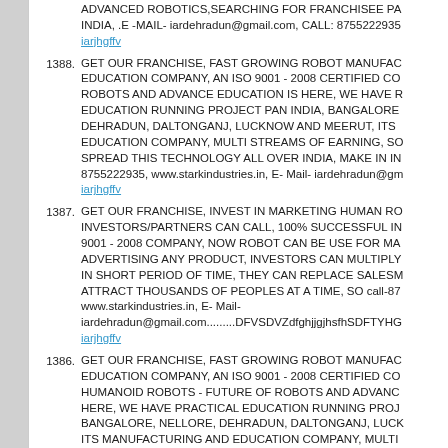ADVANCED ROBOTICS, SEARCHING FOR FRANCHISEE PA INDIA, .E -MAIL- iardehradun@gmail.com, CALL: 8755222935 iarjhgffv
1388. GET OUR FRANCHISE, FAST GROWING ROBOT MANUFAC EDUCATION COMPANY, AN ISO 9001 - 2008 CERTIFIED CO ROBOTS AND ADVANCE EDUCATION IS HERE, WE HAVE R EDUCATION RUNNING PROJECT PAN INDIA, BANGALORE DEHRADUN, DALTONGANJ, LUCKNOW AND MEERUT, ITS EDUCATION COMPANY, MULTI STREAMS OF EARNING, SO SPREAD THIS TECHNOLOGY ALL OVER INDIA, MAKE IN IN 8755222935, www.starkindustries.in, E- Mail- iardehradun@gm iarjhgffv
1387. GET OUR FRANCHISE, INVEST IN MARKETING HUMAN RO INVESTORS/PARTNERS CAN CALL, 100% SUCCESSFUL IN 9001 - 2008 COMPANY, NOW ROBOT CAN BE USE FOR MA ADVERTISING ANY PRODUCT, INVESTORS CAN MULTIPLY IN SHORT PERIOD OF TIME, THEY CAN REPLACE SALESM ATTRACT THOUSANDS OF PEOPLES AT A TIME, SO call-87 www.starkindustries.in, E- Mail- iardehradun@gmail.com.........DFVSDVZdfghjjgjhsfhSDFTYHG iarjhgffv
1386. GET OUR FRANCHISE, FAST GROWING ROBOT MANUFAC EDUCATION COMPANY, AN ISO 9001 - 2008 CERTIFIED CO HUMANOID ROBOTS - FUTURE OF ROBOTS AND ADVANC HERE, WE HAVE PRACTICAL EDUCATION RUNNING PROJ BANGALORE, NELLORE, DEHRADUN, DALTONGANJ, LUCK ITS MANUFACTURING AND EDUCATION COMPANY, MULTI EARNING, SO JOIN US AND SPREAD THIS TECHNOLOGY A MAKE IN INDIA PROJECT, call-8755222935, www.starkindu